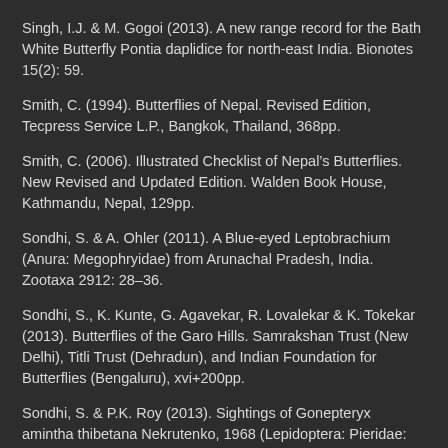Singh, I.J. & M. Gogoi (2013). A new range record for the Bath White Butterfly Pontia daplidice for north-east India. Bionotes 15(2): 59.
Smith, C. (1994). Butterflies of Nepal. Revised Edition, Tecpress Service L.P., Bangkok, Thailand, 368pp.
Smith, C. (2006). Illustrated Checklist of Nepal’s Butterflies. New Revised and Updated Edition. Walden Book House, Kathmandu, Nepal, 129pp.
Sondhi, S. & A. Ohler (2011). A Blue-eyed Leptobrachium (Anura: Megophryidae) from Arunachal Pradesh, India. Zootaxa 2912: 28–36.
Sondhi, S., K. Kunte, G. Agavekar, R. Lovalekar & K. Tokekar (2013). Butterflies of the Garo Hills. Samrakshan Trust (New Delhi), Titli Trust (Dehradun), and Indian Foundation for Butterflies (Bengaluru), xvi+200pp.
Sondhi, S. & P.K. Roy (2013). Sightings of Gonepteryx amintha thibetana Nekrutenko, 1968 (Lepidoptera: Pieridae: Coliadinae) from Arunachal Pradesh, India: an